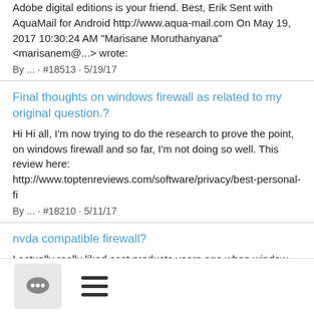Adobe digital editions is your friend. Best, Erik Sent with AquaMail for Android http://www.aqua-mail.com On May 19, 2017 10:30:24 AM "Marisane Moruthanyana" <marisanem@...> wrote:
By ... · #18513 · 5/19/17
Final thoughts on windows firewall as related to my original question.?
Hi Hi all, I'm now trying to do the research to prove the point, on windows firewall and so far, I'm not doing so well. This review here: http://www.toptenreviews.com/software/privacy/best-personal-fi
By ... · #18210 · 5/11/17
nvda compatible firewall?
I actually really liked eset products years ago when window-eyes was still a thing. Unfortunately accessibility of their tools has plunged into the abis. Best, Erik Sent with AquaMail for Android http
By ... · #18203 · 5/11/17